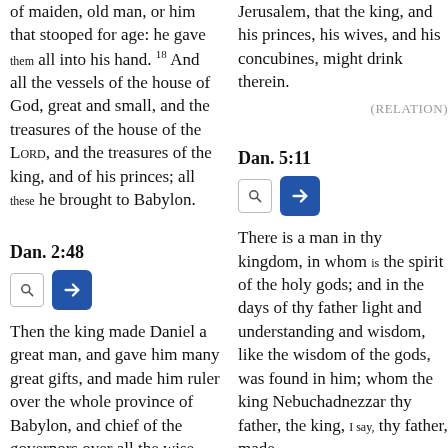of maiden, old man, or him that stooped for age: he gave them all into his hand. 18 And all the vessels of the house of God, great and small, and the treasures of the house of the LORD, and the treasures of the king, and of his princes; all these he brought to Babylon.
Jerusalem, that the king, and his princes, his wives, and his concubines, might drink therein.
(RELATION)
Dan. 2:48
Dan. 5:11
Then the king made Daniel a great man, and gave him many great gifts, and made him ruler over the whole province of Babylon, and chief of the governors over all the wise men of Babylon.
There is a man in thy kingdom, in whom is the spirit of the holy gods; and in the days of thy father light and understanding and wisdom, like the wisdom of the gods, was found in him; whom the king Nebuchadnezzar thy father, the king, I say, thy father, made